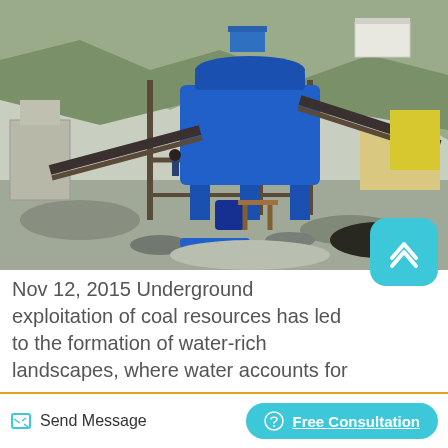[Figure (photo): Outdoor mining/quarrying site with a large blue industrial crusher/processing machine on metal frame supports, conveyor belts, rocky hillside background, grey dusty ground with rubble and debris.]
Nov 12, 2015 Underground exploitation of coal resources has led to the formation of water-rich landscapes, where water accounts for 30–50 of the subsided land in the H–H coal mine areas. At present, pockets of land subsidence with a total area of 250 km 2 have formed in the H–H coal mine areas, and over 100 km 2 is